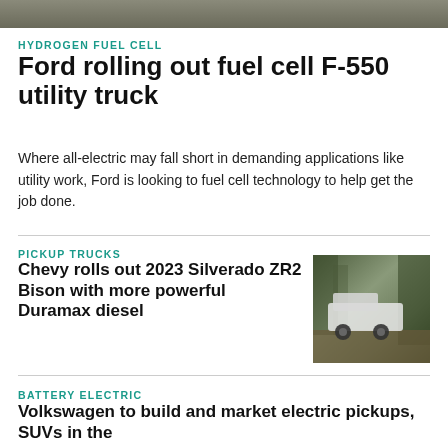[Figure (photo): Top portion of a vehicle photo cropped at the top of the page]
HYDROGEN FUEL CELL
Ford rolling out fuel cell F-550 utility truck
Where all-electric may fall short in demanding applications like utility work, Ford is looking to fuel cell technology to help get the job done.
PICKUP TRUCKS
Chevy rolls out 2023 Silverado ZR2 Bison with more powerful Duramax diesel
[Figure (photo): White Chevy Silverado ZR2 Bison truck driving through a forested area]
BATTERY ELECTRIC
Volkswagen to build and market electric pickups, SUVs in the